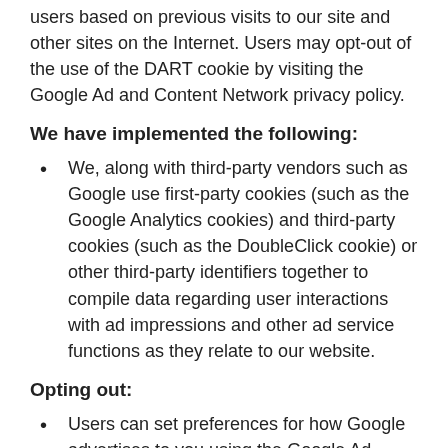users based on previous visits to our site and other sites on the Internet. Users may opt-out of the use of the DART cookie by visiting the Google Ad and Content Network privacy policy.
We have implemented the following:
We, along with third-party vendors such as Google use first-party cookies (such as the Google Analytics cookies) and third-party cookies (such as the DoubleClick cookie) or other third-party identifiers together to compile data regarding user interactions with ad impressions and other ad service functions as they relate to our website.
Opting out:
Users can set preferences for how Google advertises to you using the Google Ad